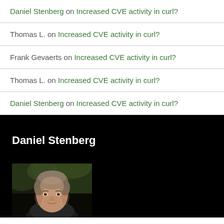Daniel Stenberg on Increased CVE activity in curl?
Thomas L. on Increased CVE activity in curl?
Frank Gevaerts on Increased CVE activity in curl?
Thomas L. on Increased CVE activity in curl?
Daniel Stenberg on Increased CVE activity in curl?
Daniel Stenberg
[Figure (photo): Portrait photo of Daniel Stenberg, a middle-aged man with short grey-brown hair, photographed outdoors against a green blurred background]